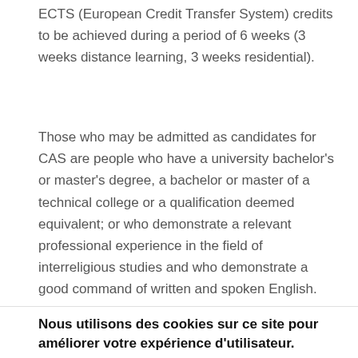ECTS (European Credit Transfer System) credits to be achieved during a period of 6 weeks (3 weeks distance learning, 3 weeks residential).
Those who may be admitted as candidates for CAS are people who have a university bachelor's or master's degree, a bachelor or master of a technical college or a qualification deemed equivalent; or who demonstrate a relevant professional experience in the field of interreligious studies and who demonstrate a good command of written and spoken English.
Study Modules:
Nous utilisons des cookies sur ce site pour améliorer votre expérience d'utilisateur.